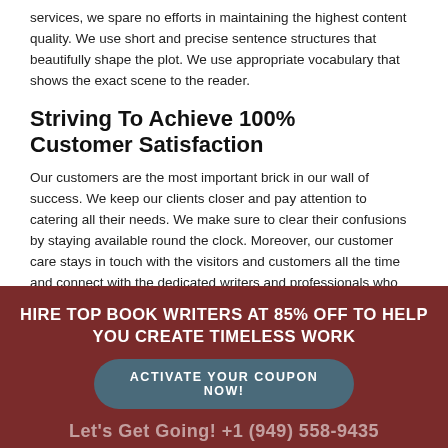services, we spare no efforts in maintaining the highest content quality. We use short and precise sentence structures that beautifully shape the plot. We use appropriate vocabulary that shows the exact scene to the reader.
Striving To Achieve 100% Customer Satisfaction
Our customers are the most important brick in our wall of success. We keep our clients closer and pay attention to catering all their needs. We make sure to clear their confusions by staying available round the clock. Moreover, our customer care stays in touch with the visitors and customers all the time and connect with the dedicated writers and professionals who leave no stone unturned to keep them satisfied. So, if you have any query feel free to contact our professionals who would be happy to help you.
HIRE TOP BOOK WRITERS AT 85% OFF TO HELP YOU CREATE TIMELESS WORK
ACTIVATE YOUR COUPON NOW!
Let's Get Going! +1 (949) 558-9435